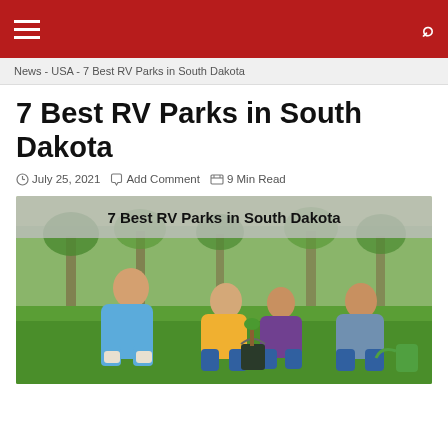Navigation bar with hamburger menu and search icon
News - USA - 7 Best RV Parks in South Dakota
7 Best RV Parks in South Dakota
July 25, 2021  Add Comment  9 Min Read
[Figure (photo): Featured image showing group of young people planting a tree outdoors on green grass, with text overlay '7 Best RV Parks in South Dakota']